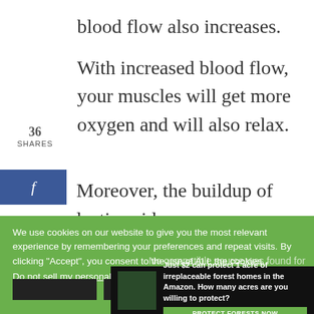blood flow also increases.
With increased blood flow, your muscles will get more oxygen and will also relax.
36 SHARES
Moreover, the buildup of lactic acid
We use cookies on our website to give you the most relevant experience by remembering your preferences and repeat visits. By clicking “Accept”, you consent to the use of ALL the cookies.
No compatible source was found for this media.
Do not sell my personal information
[Figure (infographic): Amazon forest protection advertisement banner at bottom of page]